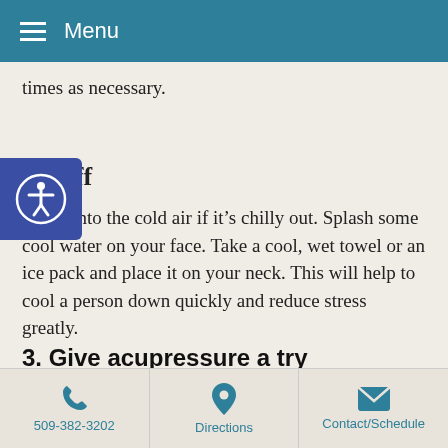Menu
times as necessary.
ool off
outside into the cold air if it's chilly out. Splash some cool water on your face. Take a cool, wet towel or an ice pack and place it on your neck. This will help to cool a person down quickly and reduce stress greatly.
3. Give acupressure a try
Acupuncture is an ancient Chinese medical practice that can be traced back at least 2,500 years, and is highly effective in getting the body in sync with itself and functioning at its best. A variation of acupuncture
509-382-3202   Directions   Contact/Schedule